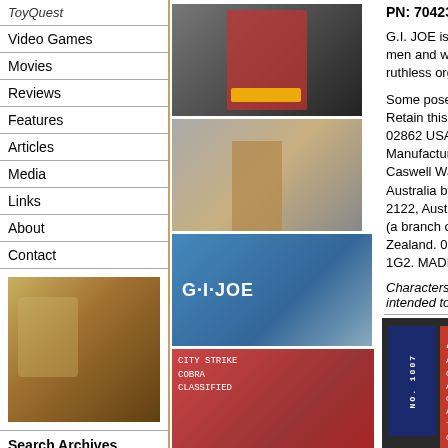ToyQuest
Video Games
Movies
Reviews
Features
Articles
Media
Links
About
Contact
[Figure (photo): Photo of people at a table in a restaurant or event setting]
Search Archives
Archives
December 2021
[Figure (photo): Product thumbnail 1 - action figure package front]
[Figure (photo): Product thumbnail 2 - action figure package side]
[Figure (photo): Product thumbnail 3 - G.I. Joe package front]
[Figure (photo): Product thumbnail 4 - package back with red text]
PN: 7042390600
G.I. JOE is the code n men and women. The ruthless organization w
Some poses may requ Retain this package fo 02862 USA. All rights Manufacturer's repres Caswell Way, Newpor Australia by Hasbro A 2122, Australia. 1300 (a branch of Hasbro A Zealand. 0508 828 20 1G2. MADE IN CHINA
Characters and event intended to depict act
[Figure (photo): Alley-Viper product card showing NO. 1007 with red background and product details]